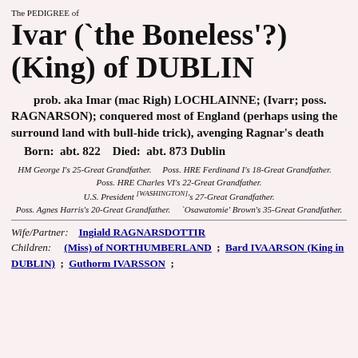The PEDIGREE of
Ivar (`the Boneless'?) (King) of DUBLIN
prob. aka Imar (mac Righ) LOCHLAINNE; (Ivarr; poss. RAGNARSON); conquered most of England (perhaps using the surround land with bull-hide trick), avenging Ragnar's death
Born:  abt. 822    Died:  abt. 873 Dublin
HM George I's 25-Great Grandfather.      Poss. HRE Ferdinand I's 18-Great Grandfather.      Poss. HRE Charles VI's 22-Great Grandfather.      U.S. President [WASHINGTON]'s 27-Great Grandfather.   Poss. Agnes Harris's 20-Great Grandfather.      `Osawatomie' Brown's 35-Great Grandfather.
Wife/Partner:   Ingiald RAGNARSDOTTIR   Children:   (Miss) of NORTHUMBERLAND  ;  Bard IVAARSON (King in DUBLIN)  ;  Guthorm IVARSSON  ;